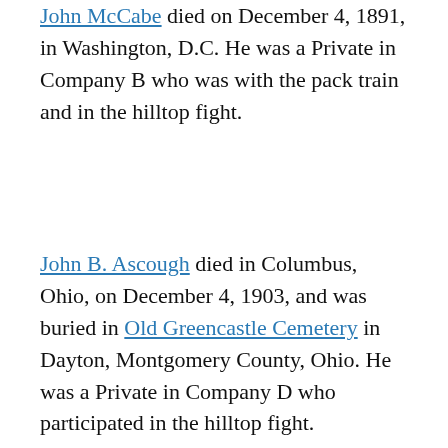John McCabe died on December 4, 1891, in Washington, D.C. He was a Private in Company B who was with the pack train and in the hilltop fight.
John B. Ascough died in Columbus, Ohio, on December 4, 1903, and was buried in Old Greencastle Cemetery in Dayton, Montgomery County, Ohio. He was a Private in Company D who participated in the hilltop fight.
George A. Rudolph died on December 4, 1924, in Eddyville, New York, and was buried in Saint Peters Cemetery in Rosendale, Ulster County, New York. He was a Private in the Band, so he was not present at the battle. He was on detached service at Powder River, Montana